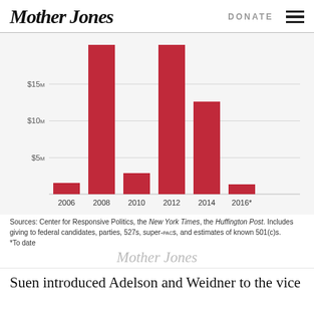Mother Jones | DONATE
[Figure (bar-chart): Political donations over election cycles]
Sources: Center for Responsive Politics, the New York Times, the Huffington Post. Includes giving to federal candidates, parties, 527s, super-PACs, and estimates of known 501(c)s.
*To date
[Figure (logo): Mother Jones watermark]
Suen introduced Adelson and Weidner to the vice